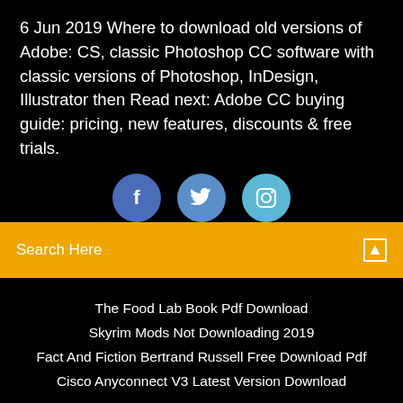6 Jun 2019 Where to download old versions of Adobe: CS, classic Photoshop CC software with classic versions of Photoshop, InDesign, Illustrator then Read next: Adobe CC buying guide: pricing, new features, discounts & free trials.
[Figure (illustration): Three circular social media icons: Facebook (dark blue), Twitter (medium blue), Instagram (light blue/cyan), partially visible]
Search Here
The Food Lab Book Pdf Download
Skyrim Mods Not Downloading 2019
Fact And Fiction Bertrand Russell Free Download Pdf
Cisco Anyconnect V3 Latest Version Download
Copyright ©2022 All rights reserved